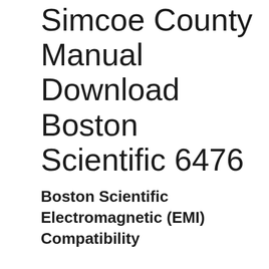Simcoe County Manual Download Boston Scientific 6476
Boston Scientific Electromagnetic (EMI) Compatibility